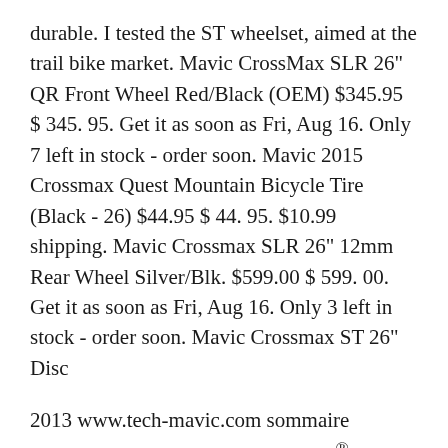durable. I tested the ST wheelset, aimed at the trail bike market. Mavic CrossMax SLR 26" QR Front Wheel Red/Black (OEM) $345.95 $ 345. 95. Get it as soon as Fri, Aug 16. Only 7 left in stock - order soon. Mavic 2015 Crossmax Quest Mountain Bicycle Tire (Black - 26) $44.95 $ 44. 95. $10.99 shipping. Mavic Crossmax SLR 26" 12mm Rear Wheel Silver/Blk. $599.00 $ 599. 00. Get it as soon as Fri, Aug 16. Only 3 left in stock - order soon. Mavic Crossmax ST 26" Disc
2013 www.tech-mavic.com sommaire www.tech-mavic.com roues mavicB® comete piste comete route cosmic cxr 80 cosmic carbone 80 cosmic carbone sle r-sys slr pneu r-sys slr boyau ksyrium slr r-sys ksyrium sls pneu ksyrium sls boyau